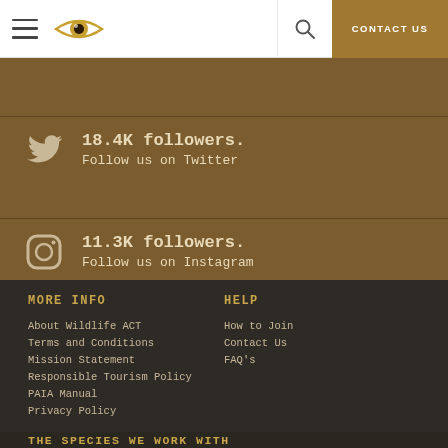Wildlife ACT — Navigation header with hamburger menu, logo, search, and CONTACT US button
18.4K followers. Follow us on Twitter
11.3K followers. Follow us on Instagram
MORE INFO
About Wildlife ACT
Terms and Conditions
Mission Statement
Responsible Tourism Policy
PAIA Manual
Privacy Policy
HELP
How to Join
Contact Us
FAQ's
THE SPECIES WE WORK WITH